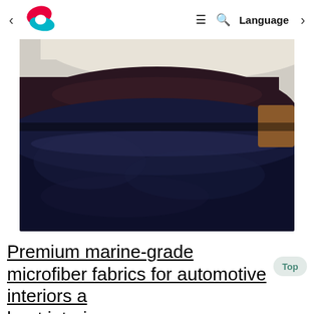< [logo] ≡ Q Language >
[Figure (photo): Rolls of marine-grade microfiber fabric in dark navy/black and cream/beige colors, showing textured leather-like surface]
Premium marine-grade microfiber fabrics for automotive interiors and boat interiors